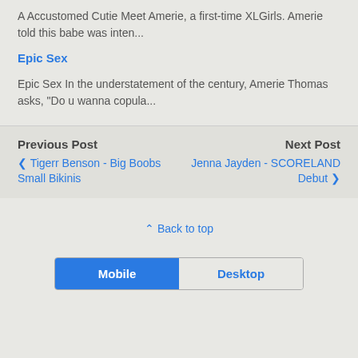A Accustomed Cutie Meet Amerie, a first-time XLGirls. Amerie told this babe was inten...
Epic Sex
Epic Sex In the understatement of the century, Amerie Thomas asks, "Do u wanna copula...
Previous Post
< Tigerr Benson - Big Boobs Small Bikinis
Next Post
Jenna Jayden - SCORELAND Debut >
Back to top
Mobile
Desktop